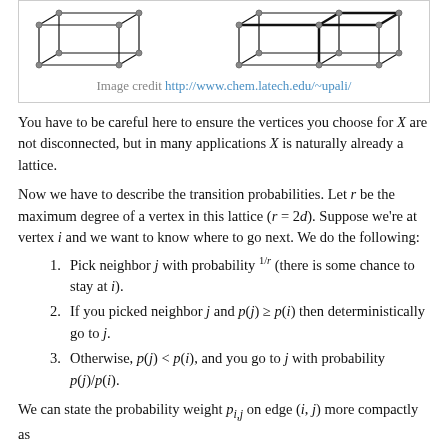[Figure (illustration): Two lattice/graph diagrams showing vertices and edges in a 3D cube-like structure]
Image credit http://www.chem.latech.edu/~upali/
You have to be careful here to ensure the vertices you choose for X are not disconnected, but in many applications X is naturally already a lattice.
Now we have to describe the transition probabilities. Let r be the maximum degree of a vertex in this lattice (r = 2d). Suppose we're at vertex i and we want to know where to go next. We do the following:
Pick neighbor j with probability 1/r (there is some chance to stay at i).
If you picked neighbor j and p(j) >= p(i) then deterministically go to j.
Otherwise, p(j) < p(i), and you go to j with probability p(j)/p(i).
We can state the probability weight p_{i,j} on edge (i, j) more compactly as